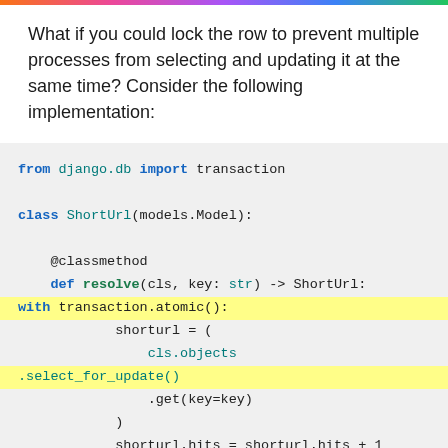What if you could lock the row to prevent multiple processes from selecting and updating it at the same time? Consider the following implementation:
[Figure (screenshot): Python code block showing Django model with transaction.atomic() and select_for_update() highlighted in yellow. Code imports transaction from django.db, defines ShortUrl class with a classmethod resolve that uses select_for_update() inside a transaction.atomic() block.]